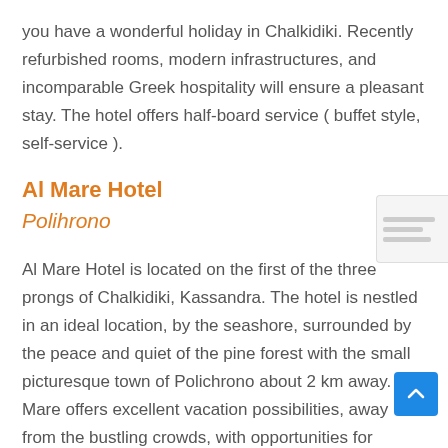you have a wonderful holiday in Chalkidiki. Recently refurbished rooms, modern infrastructures, and incomparable Greek hospitality will ensure a pleasant stay. The hotel offers half-board service ( buffet style, self-service ).
Al Mare Hotel
Polihrono
Al Mare Hotel is located on the first of the three prongs of Chalkidiki, Kassandra. The hotel is nestled in an ideal location, by the seashore, surrounded by the peace and quiet of the pine forest with the small picturesque town of Polichrono about 2 km away. Al Mare offers excellent vacation possibilities, away from the bustling crowds, with opportunities for sightseeing in the nearby archeological sites, spas, and untouched nature. However, if you are